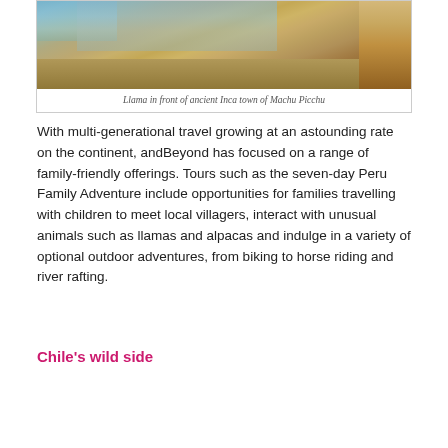[Figure (photo): Photo of a llama standing on a hillside in front of the ancient Inca town of Machu Picchu, with ruins and mountains visible in the background.]
Llama in front of ancient Inca town of Machu Picchu
With multi-generational travel growing at an astounding rate on the continent, andBeyond has focused on a range of family-friendly offerings. Tours such as the seven-day Peru Family Adventure include opportunities for families travelling with children to meet local villagers, interact with unusual animals such as llamas and alpacas and indulge in a variety of optional outdoor adventures, from biking to horse riding and river rafting.
Chile's wild side